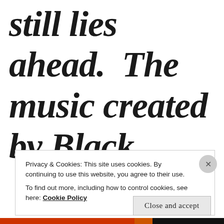still lies ahead.  The music created by Black
Privacy & Cookies: This site uses cookies. By continuing to use this website, you agree to their use.
To find out more, including how to control cookies, see here: Cookie Policy
Close and accept